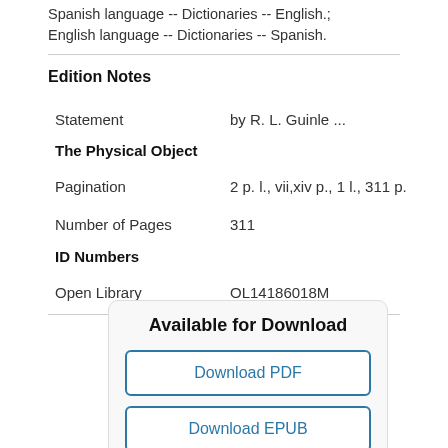Spanish language -- Dictionaries -- English.;
English language -- Dictionaries -- Spanish.
Edition Notes
| Field | Value |
| --- | --- |
| Statement | by R. L. Guinle ... |
The Physical Object
| Field | Value |
| --- | --- |
| Pagination | 2 p. l., vii,xiv p., 1 l., 311 p. |
| Number of Pages | 311 |
ID Numbers
| Field | Value |
| --- | --- |
| Open Library | OL14186018M |
Available for Download
Download PDF
Download EPUB